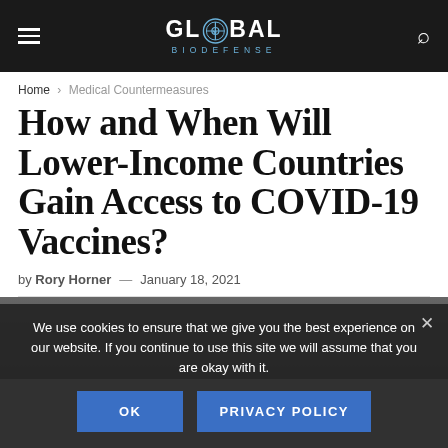GLOBAL BIODEFENSE
Home > Medical Countermeasures
How and When Will Lower-Income Countries Gain Access to COVID-19 Vaccines?
by Rory Horner — January 18, 2021
We use cookies to ensure that we give you the best experience on our website. If you continue to use this site we will assume that you are okay with it.